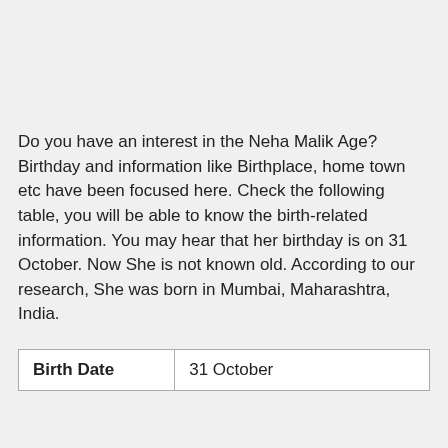Do you have an interest in the Neha Malik Age? Birthday and information like Birthplace, home town etc have been focused here. Check the following table, you will be able to know the birth-related information. You may hear that her birthday is on 31 October. Now She is not known old. According to our research, She was born in Mumbai, Maharashtra, India.
| Birth Date | 31 October |
| --- | --- |